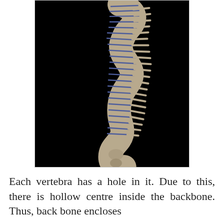[Figure (photo): 3D CT scan or medical illustration of the human spine viewed from the side (lateral view), showing the vertebrae with their characteristic S-curve. The vertebral bodies and intervertebral discs are visible, with blue highlighting between some vertebrae. The image has a black background.]
Each vertebra has a hole in it. Due to this, there is hollow centre inside the backbone. Thus, back bone encloses